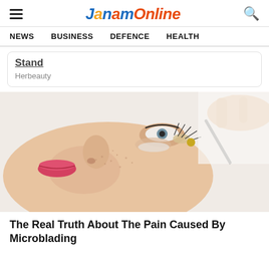JanamOnline
NEWS   BUSINESS   DEFENCE   HEALTH
Stand
Herbeauty
[Figure (photo): A woman lying down receiving a microblading or eyelash treatment near her eye, with a hand holding a fine tool applying it near the eye area. The woman has freckled skin and red lips.]
The Real Truth About The Pain Caused By Microblading